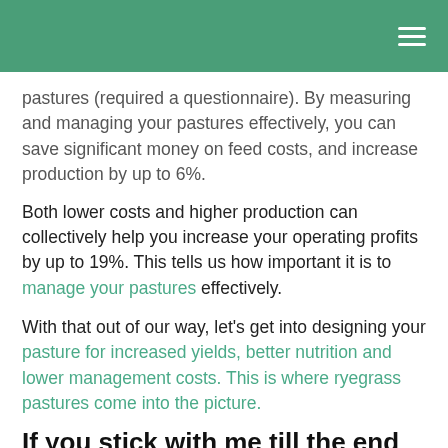pastures (required a questionnaire). By measuring and managing your pastures effectively, you can save significant money on feed costs, and increase production by up to 6%.
Both lower costs and higher production can collectively help you increase your operating profits by up to 19%. This tells us how important it is to manage your pastures effectively.
With that out of our way, let’s get into designing your pasture for increased yields, better nutrition and lower management costs. This is where ryegrass pastures come into the picture.
If you stick with me till the end of this guide, you will get definitive answers to the following questions: